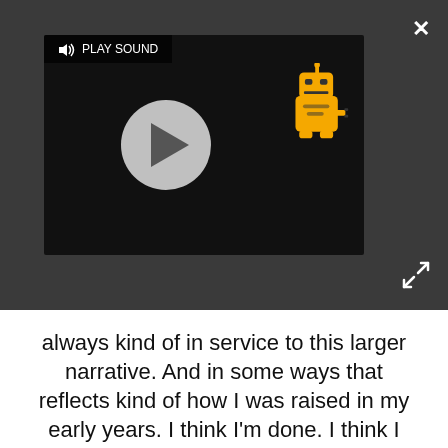[Figure (screenshot): Video player embedded in a dark gray bar. Shows a play button (gray circle with triangle), a 'PLAY SOUND' label with speaker icon, and a cartoon robot character in yellow. A close (X) button is in the top-right corner and an expand/fullscreen icon is in the bottom-right corner.]
always kind of in service to this larger narrative. And in some ways that reflects kind of how I was raised in my early years. I think I'm done. I think I want to try the other side.
The Walking Dead is known for its grueling shooting schedule, which often includes being outside in